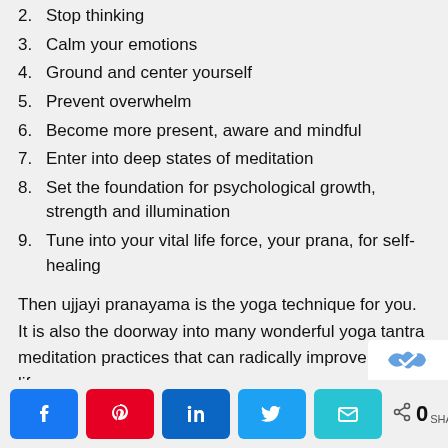2. Stop thinking
3. Calm your emotions
4. Ground and center yourself
5. Prevent overwhelm
6. Become more present, aware and mindful
7. Enter into deep states of meditation
8. Set the foundation for psychological growth, strength and illumination
9. Tune into your vital life force, your prana, for self-healing
Then ujjayi pranayama is the yoga technique for you. It is also the doorway into many wonderful yoga tantra meditation practices that can radically improve your life.